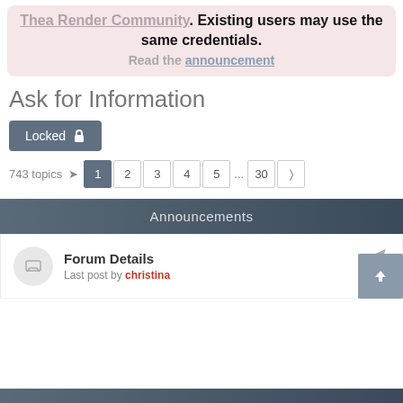Thea Render Community. Existing users may use the same credentials. Read the announcement
Ask for Information
Locked
743 topics  1 2 3 4 5 ... 30 >
Announcements
Forum Details Last post by christina